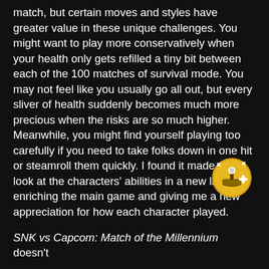match, but certain moves and styles have greater value in these unique challenges. You might want to play more conservatively when your health only gets refilled a tiny bit between each of the 100 matches of survival mode. You may not feel like you usually go all out, but every sliver of health suddenly becomes much more precious when the risks are so much higher. Meanwhile, you might find yourself playing too carefully if you need to take folks down in one hit or steamroll them quickly. I found it made me look at the characters' abilities in a new light, enriching the main game and giving me a new appreciation for how each character played.
[Figure (illustration): A circular golden/yellow badge icon featuring a game controller or joystick with a plus symbol, with sparkle effects around it]
SNK vs Capcom: Match of the Millennium doesn't